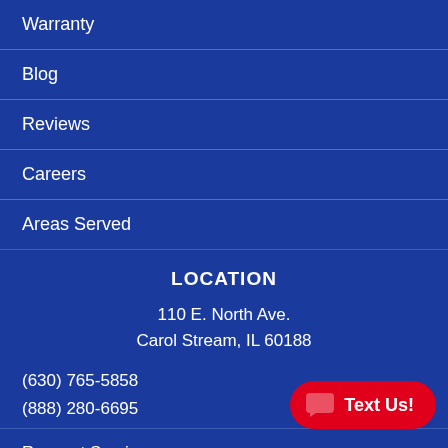Warranty
Blog
Reviews
Careers
Areas Served
LOCATION
110 E. North Ave.
Carol Stream, IL 60188
(630) 765-5858
(888) 280-6695
Request Service
Contact Us
[Figure (other): Red rounded button with chat icon and 'Text Us!' label in bottom right corner]